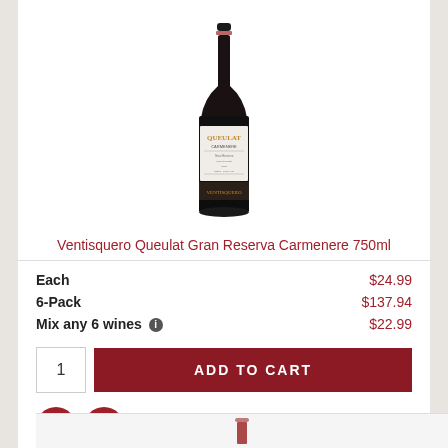[Figure (photo): Wine bottle - Ventisquero Queulat Gran Reserva Carmenere 750ml, dark bottle with white label and gold/dark band]
Ventisquero Queulat Gran Reserva Carmenere 750ml
|  |  |
| --- | --- |
| Each | $24.99 |
| 6-Pack | $137.94 |
| Mix any 6 wines ℹ | $22.99 |
1  ADD TO CART
[Figure (logo): Facebook icon - circular dark red button with F logo]
[Figure (logo): Instagram icon - circular dark red button with camera logo]